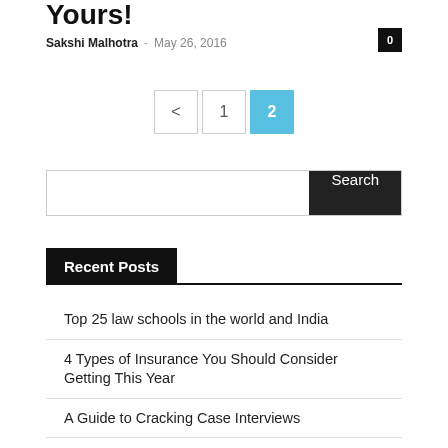Yours!
Sakshi Malhotra - May 26, 2016
0
< 1 2
Search
Recent Posts
Top 25 law schools in the world and India
4 Types of Insurance You Should Consider Getting This Year
A Guide to Cracking Case Interviews
23 Most Beautiful Beaches to visit at least once in life